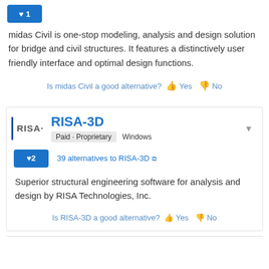[Figure (other): Blue vote button with heart icon and number 1]
midas Civil is one-stop modeling, analysis and design solution for bridge and civil structures. It features a distinctively user friendly interface and optimal design functions.
Is midas Civil a good alternative? Yes No
RISA-3D
Paid • Proprietary   Windows
[Figure (other): Blue vote button with heart icon and number 2]
39 alternatives to RISA-3D
Superior structural engineering software for analysis and design by RISA Technologies, Inc.
Is RISA-3D a good alternative? Yes No